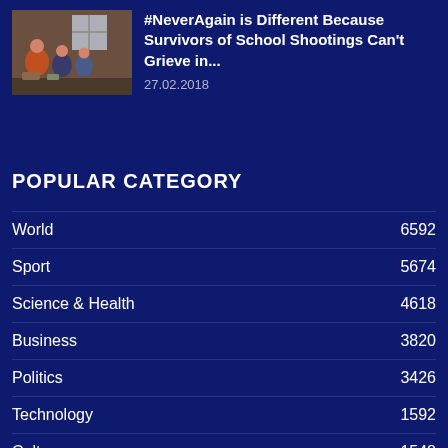[Figure (photo): Group of people at a gathering or event, indoor setting with brick wall and window in background]
#NeverAgain is Different Because Survivors of School Shootings Can't Grieve in...
27.02.2018
POPULAR CATEGORY
World  6592
Sport  5674
Science & Health  4618
Business  3820
Politics  3426
Technology  1592
Culture  1548